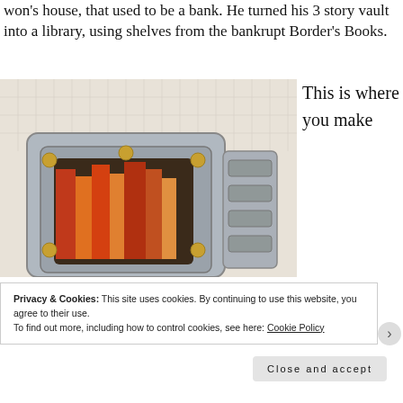won's house, that used to be a bank. He turned his 3 story vault into a library, using shelves from the bankrupt Border's Books.
[Figure (photo): Photo of an open bank vault door with brass bolts and heavy steel construction, with colorful books visible inside through the opening.]
This is where you make
Privacy & Cookies: This site uses cookies. By continuing to use this website, you agree to their use.
To find out more, including how to control cookies, see here: Cookie Policy
Close and accept